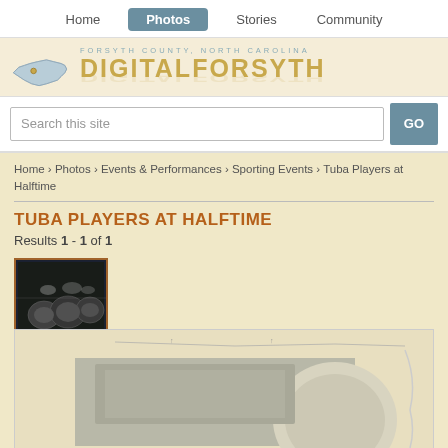Home | Photos | Stories | Community
[Figure (screenshot): DigitalForsyth website header with NC state map logo and site name DIGITALFORSYTH, Forsyth County North Carolina]
Search this site
Home › Photos › Events & Performances › Sporting Events › Tuba Players at Halftime
TUBA PLAYERS AT HALFTIME
Results 1 - 1 of 1
[Figure (photo): Thumbnail photo of tuba players at halftime, black and white image showing tuba instruments]
[Figure (photo): Partial large photo of tuba players at halftime event]